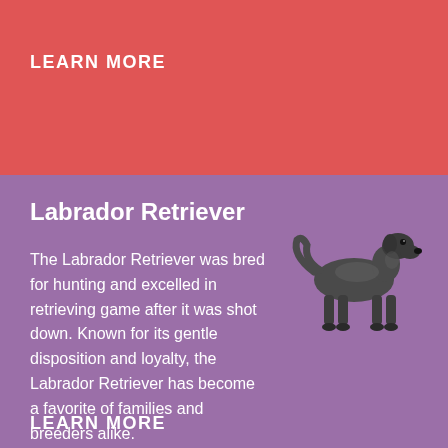LEARN MORE
Labrador Retriever
[Figure (illustration): Black and white illustration of a Labrador Retriever dog standing in profile, facing right]
The Labrador Retriever was bred for hunting and excelled in retrieving game after it was shot down. Known for its gentle disposition and loyalty, the Labrador Retriever has become a favorite of families and breeders alike.
LEARN MORE